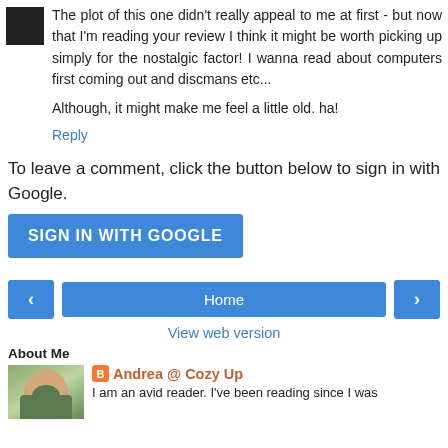The plot of this one didn't really appeal to me at first - but now that I'm reading your review I think it might be worth picking up simply for the nostalgic factor! I wanna read about computers first coming out and discmans etc...
Although, it might make me feel a little old. ha!
Reply
To leave a comment, click the button below to sign in with Google.
SIGN IN WITH GOOGLE
Home
View web version
About Me
Andrea @ Cozy Up
I am an avid reader. I've been reading since I was